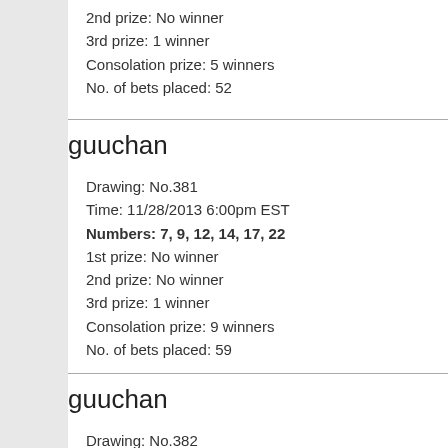2nd prize: No winner
3rd prize: 1 winner
Consolation prize: 5 winners
No. of bets placed: 52
guuchan
Drawing: No.381
Time: 11/28/2013 6:00pm EST
Numbers: 7, 9, 12, 14, 17, 22
1st prize: No winner
2nd prize: No winner
3rd prize: 1 winner
Consolation prize: 9 winners
No. of bets placed: 59
guuchan
Drawing: No.382
Time: 11/30/2013 6:00pm EST
Numbers: 2, 7, 8, 9, 19, 22
1st prize: No winner
2nd prize: No winner